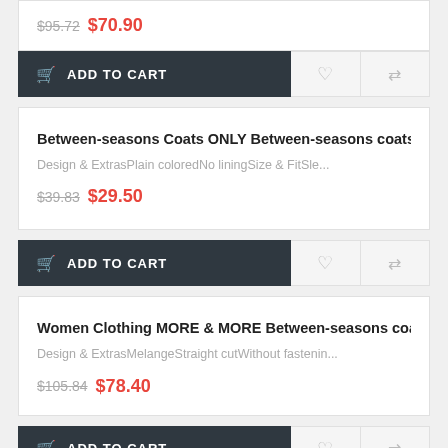$95.72  $70.90
ADD TO CART
Between-seasons Coats ONLY Between-seasons coats Blue
Design & ExtrasPlain coloredNo liningSize & FitSle...
$39.83  $29.50
ADD TO CART
Women Clothing MORE & MORE Between-seasons coats Si
Design & ExtrasMelangeStraight cutWithout fastenin...
$105.84  $78.40
ADD TO CART